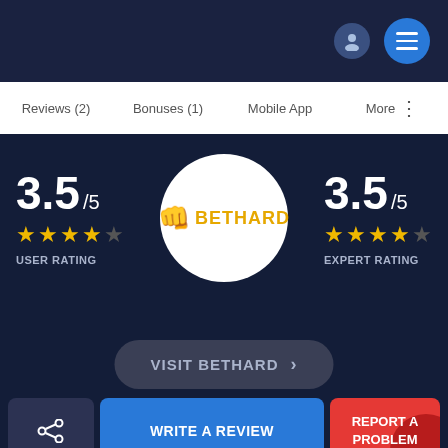navigation header bar with person icon and menu icon
Reviews (2) | Bonuses (1) | Mobile App | More
[Figure (logo): Bethard logo in white circle with golden fist icon and yellow BETHARD text]
3.5 /5 ★★★★☆ USER RATING
3.5 /5 ★★★★☆ EXPERT RATING
VISIT BETHARD >
WRITE A REVIEW
REPORT A PROBLEM